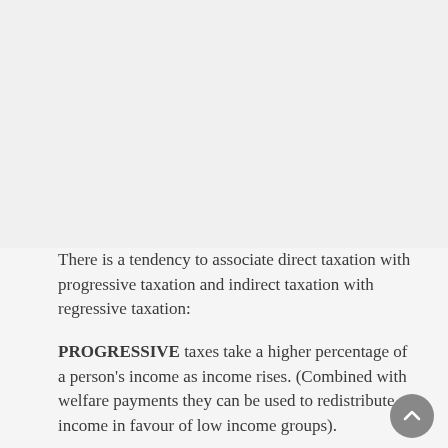There is a tendency to associate direct taxation with progressive taxation and indirect taxation with regressive taxation:
PROGRESSIVE taxes take a higher percentage of a person's income as income rises. (Combined with welfare payments they can be used to redistribute income in favour of low income groups).
REGRESSIVE taxation means that the growth of taxes per cent is smaller than income rises per cent.